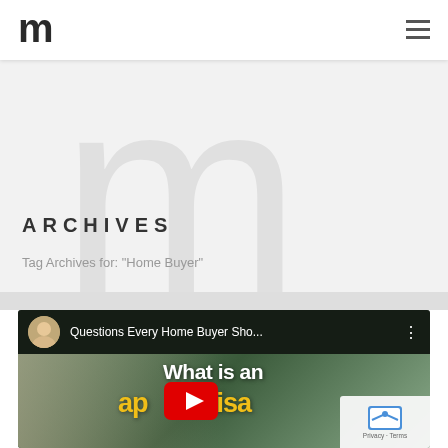m (logo) with hamburger menu
ARCHIVES
Tag Archives for: "Home Buyer"
[Figure (screenshot): YouTube video thumbnail showing a man with text overlay 'What is an appraisal' with YouTube play button, channel avatar and title 'Questions Every Home Buyer Sho...']